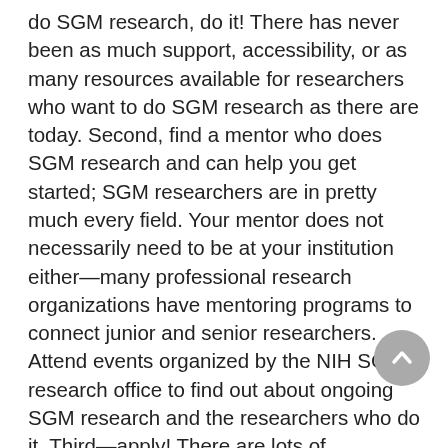do SGM research, do it! There has never been as much support, accessibility, or as many resources available for researchers who want to do SGM research as there are today. Second, find a mentor who does SGM research and can help you get started; SGM researchers are in pretty much every field. Your mentor does not necessarily need to be at your institution either—many professional research organizations have mentoring programs to connect junior and senior researchers. Attend events organized by the NIH SGM research office to find out about ongoing SGM research and the researchers who do it. Third—apply! There are lots of mechanisms you can apply to that can provide mentoring and training in SGM researchers in graduate school (e.g., F31, R36) and after you complete your Ph.D. (e.g., F32, K99R00, K01). Lastly, if you are new to applying for NIH funding, find someone who has recently been successful getting funding and ask if you can read through their application. It's best if the proposal is in your specific area, but regardless, seeing a successful application will cue you in on how to write a strong